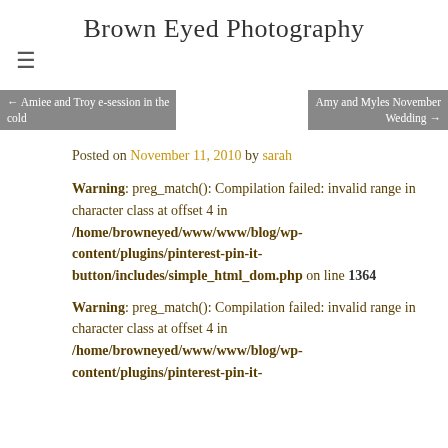Brown Eyed Photography
[Figure (other): Hamburger menu icon (three horizontal lines)]
← Amiee and Troy e-session in the cold
Amy and Myles November Wedding →
Posted on November 11, 2010 by sarah
Warning: preg_match(): Compilation failed: invalid range in character class at offset 4 in /home/browneyed/www/www/blog/wp-content/plugins/pinterest-pin-it-button/includes/simple_html_dom.php on line 1364
Warning: preg_match(): Compilation failed: invalid range in character class at offset 4 in /home/browneyed/www/www/blog/wp-content/plugins/pinterest-pin-it-